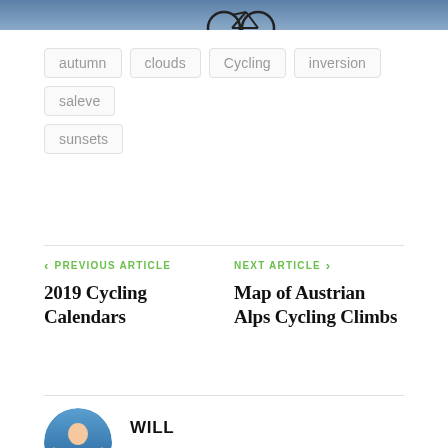[Figure (photo): Partial photo strip at top of page showing a bicycle against a sky background]
autumn
clouds
Cycling
inversion
saleve
sunsets
< PREVIOUS ARTICLE
2019 Cycling Calendars
NEXT ARTICLE >
Map of Austrian Alps Cycling Climbs
WILL